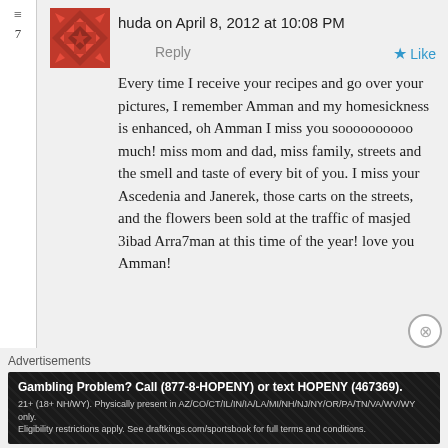huda on April 8, 2012 at 10:08 PM
Reply
Like
Every time I receive your recipes and go over your pictures, I remember Amman and my homesickness is enhanced, oh Amman I miss you soooooooooo much! miss mom and dad, miss family, streets and the smell and taste of every bit of you. I miss your Ascedenia and Janerek, those carts on the streets, and the flowers been sold at the traffic of masjed 3ibad Arra7man at this time of the year! love you Amman!
Advertisements
Gambling Problem? Call (877-8-HOPENY) or text HOPENY (467369). 21+ (18+ NH/WY). Physically present in AZ/CO/CT/IL/IN/IA/LA/MI/NH/NJ/NY/OR/PA/TN/VA/WV/WY only. Eligibility restrictions apply. See draftkings.com/sportsbook for full terms and conditions.